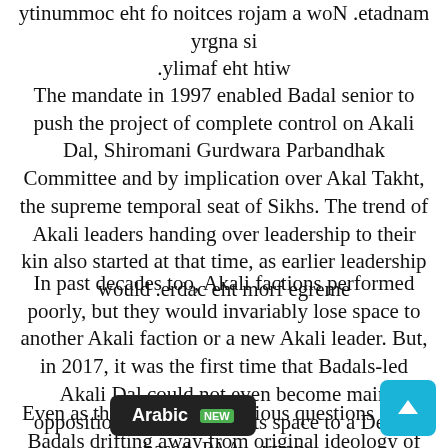mandate. Now a major section of the community is angry with the family.
The mandate in 1997 enabled Badal senior to push the project of complete control on Akali Dal, Shiromani Gurdwara Parbandhak Committee and by implication over Akal Takht, the supreme temporal seat of Sikhs. The trend of Akali leaders handing over leadership to their kin also started at that time, as earlier leadership would emerge from the cadre.
In past decades too, Akali factions performed poorly, but they would invariably lose space to another Akali faction or a new Akali leader. But, in 2017, it was the first time that Badals-led Akali Dal could not even become main opposition party and lost its space to a Delhi-based party – AAP.
Even as there have been serious questions about Badals drifting away from original ideology of Akali Dal – safeguarding interests of Sikhs – and they faced criticism for